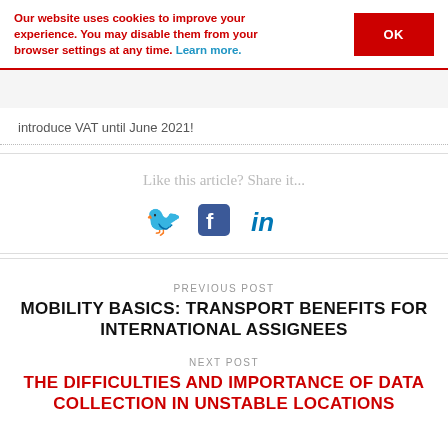Our website uses cookies to improve your experience. You may disable them from your browser settings at any time. Learn more.
introduce VAT until June 2021!
Like this article? Share it...
[Figure (other): Social share icons: Twitter bird, Facebook f, LinkedIn in]
PREVIOUS POST
MOBILITY BASICS: TRANSPORT BENEFITS FOR INTERNATIONAL ASSIGNEES
NEXT POST
THE DIFFICULTIES AND IMPORTANCE OF DATA COLLECTION IN UNSTABLE LOCATIONS